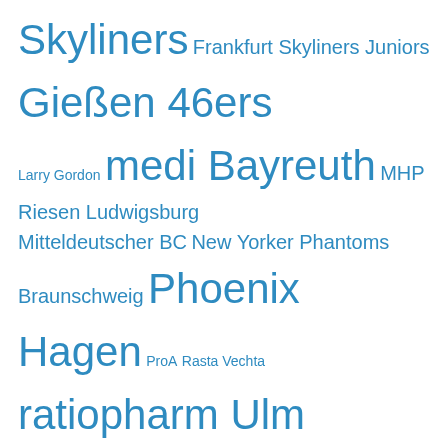Skyliners Frankfurt Skyliners Juniors Gießen 46ers Larry Gordon medi Bayreuth MHP Riesen Ludwigsburg Mitteldeutscher BC New Yorker Phantoms Braunschweig Phoenix Hagen ProA Rasta Vechta ratiopharm Ulm Telekom Baskets Bonn Walter Tigers Tuebingen White Wings Hanau
Archives
Select Month
TRANSLATE THIS SITE
Albanian Arabic Bulgarian Catalan Chinese Simplified Chinese Traditional Croatian Czech Danish Dutch Estonian Filipino Finnish